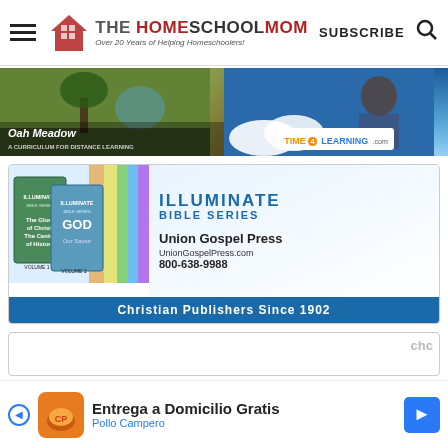THE HOMESCHOOL MOM - Over 20 Years of Helping Homeschoolers! | SUBSCRIBE
[Figure (photo): Oak Meadow curriculum ad - person holding a basket in nature]
[Figure (photo): Time4Learning.com ad - mother and child with tablet]
[Figure (photo): Illuminate Bible Series ad - Union Gospel Press, UnionGospelPress.com, 800-638-9988, Christian Publishers Since 1902]
[Figure (photo): Entrega a Domicilio Gratis - Pollo Campero bottom ad banner]